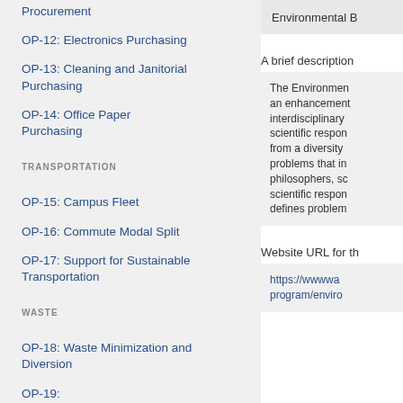Procurement
OP-12: Electronics Purchasing
OP-13: Cleaning and Janitorial Purchasing
OP-14: Office Paper Purchasing
TRANSPORTATION
OP-15: Campus Fleet
OP-16: Commute Modal Split
OP-17: Support for Sustainable Transportation
WASTE
OP-18: Waste Minimization and Diversion
Environmental B
A brief description
The Environment an enhancement interdisciplinary scientific respo from a diversity problems that in philosophers, sc scientific respon defines problem
Website URL for th
https://wwwwa program/enviro